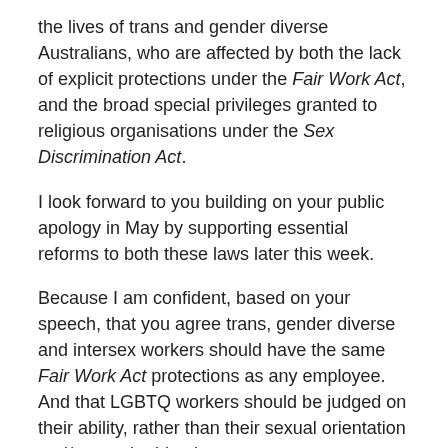the lives of trans and gender diverse Australians, who are affected by both the lack of explicit protections under the Fair Work Act, and the broad special privileges granted to religious organisations under the Sex Discrimination Act.
I look forward to you building on your public apology in May by supporting essential reforms to both these laws later this week.
Because I am confident, based on your speech, that you agree trans, gender diverse and intersex workers should have the same Fair Work Act protections as any employee. And that LGBTQ workers should be judged on their ability, rather than their sexual orientation and/or gender identity.
Sincerely,